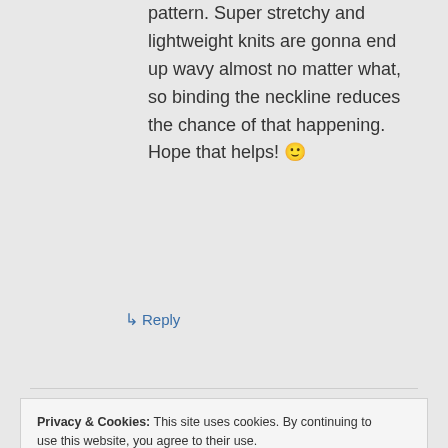pattern. Super stretchy and lightweight knits are gonna end up wavy almost no matter what, so binding the neckline reduces the chance of that happening. Hope that helps! 🙂
↳ Reply
Privacy & Cookies: This site uses cookies. By continuing to use this website, you agree to their use.
To find out more, including how to control cookies, see here: Cookie Policy
Close and accept